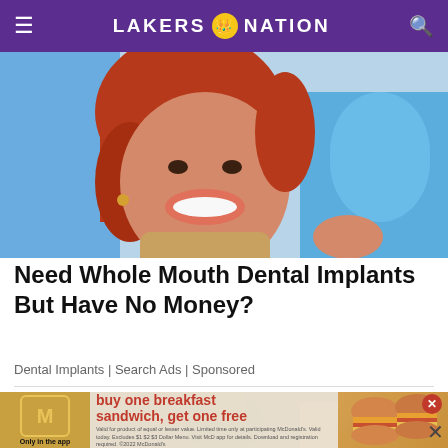LAKERS NATION
[Figure (photo): Woman with red hair smiling and holding a blue dental mirror, seated in a dental chair]
Need Whole Mouth Dental Implants But Have No Money?
Dental Implants | Search Ads | Sponsored
[Figure (photo): McDonald's advertisement overlay on Lakers game background: buy one breakfast sandwich, get one free. Only in the app.]